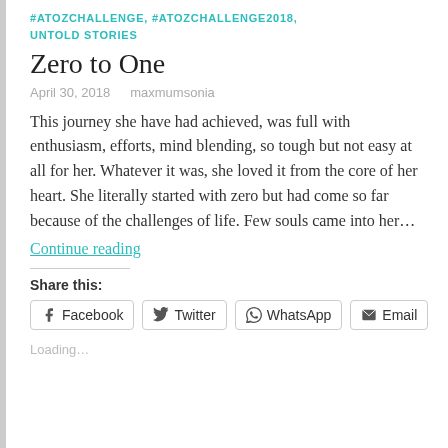#ATOZCHALLENGE, #ATOZCHALLENGE2018, UNTOLD STORIES
Zero to One
April 30, 2018    maxmumsonia
This journey she have had achieved, was full with enthusiasm, efforts, mind blending, so tough but not easy at all for her. Whatever it was, she loved it from the core of her heart. She literally started with zero but had come so far because of the challenges of life. Few souls came into her…
Continue reading
Share this:
Facebook  Twitter  WhatsApp  Email
Loading...